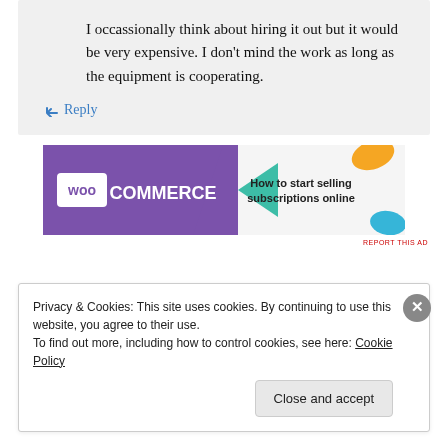I occassionally think about hiring it out but it would be very expensive. I don't mind the work as long as the equipment is cooperating.
↳ Reply
[Figure (illustration): WooCommerce advertisement banner: purple background with WooCommerce logo on the left, green arrow pointing left, text 'How to start selling subscriptions online' on the right, orange and blue decorative shapes]
Privacy & Cookies: This site uses cookies. By continuing to use this website, you agree to their use.
To find out more, including how to control cookies, see here: Cookie Policy
Close and accept